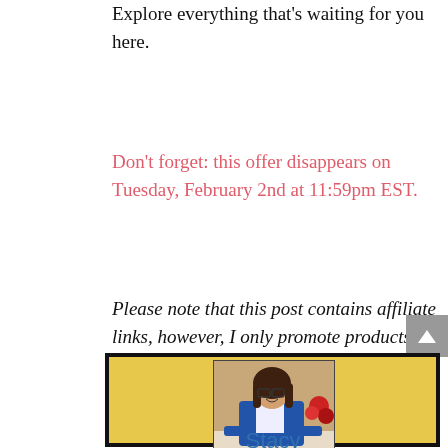Explore everything that's waiting for you here.
Don't forget: this offer disappears on Tuesday, February 2nd at 11:59pm EST.
Please note that this post contains affiliate links, however, I only promote products that I recommend.
[Figure (photo): Author bio card with yellow background, showing a photo of Stacy (woman in blue jacket) with her name below in blue text]
Stacy